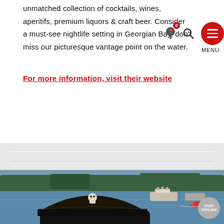unmatched collection of cocktails, wines, aperitifs, premium liquors & craft beer. Consider a must-see nightlife setting in Georgian Bay, don't miss our picturesque vantage point on the water.
For more information, visit their website
[Figure (screenshot): Navigation bar overlay with location pin icon (badge showing 0), search icon, red circular hamburger menu button, and MENU label below]
[Figure (photo): Person wearing a pirate hat viewed from behind, with boats on a lake (Georgian Bay) in the background. A 'CHAT OFFLINE' button appears in the bottom right corner.]